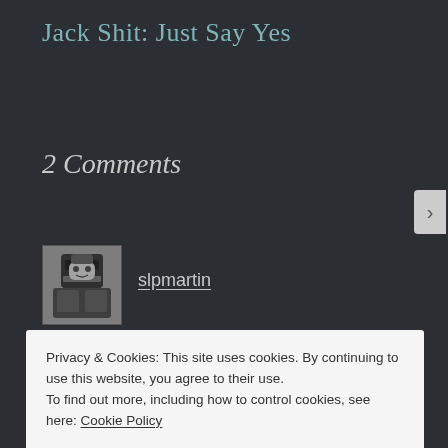Jack Shit: Just Say Yes
2 Comments
[Figure (photo): Avatar image of commenter slpmartin — black and white illustration/photo of a person]
slpmartin
September 9, 2018 at 3:12 pm
Privacy & Cookies: This site uses cookies. By continuing to use this website, you agree to their use.
To find out more, including how to control cookies, see here: Cookie Policy
Close and accept